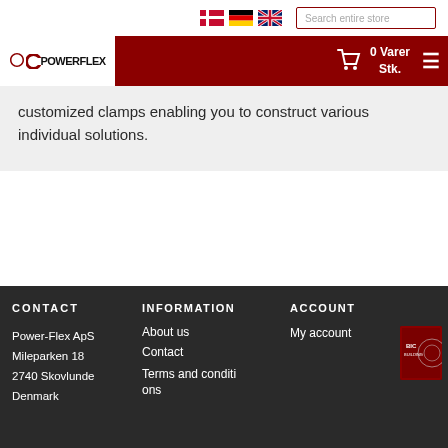Search entire store
[Figure (logo): PowerFlex company logo with shopping cart and 0 Varer Stk.]
customized clamps enabling you to construct various individual solutions.
CONTACT | INFORMATION | ACCOUNT | Power-Flex ApS | Mileparken 18 | 2740 Skovlunde | Denmark | About us | Contact | Terms and conditions | My account